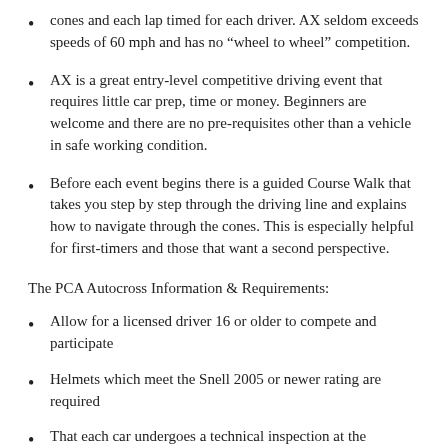cones and each lap timed for each driver. AX seldom exceeds speeds of 60 mph and has no “wheel to wheel” competition.
AX is a great entry-level competitive driving event that requires little car prep, time or money. Beginners are welcome and there are no pre-requisites other than a vehicle in safe working condition.
Before each event begins there is a guided Course Walk that takes you step by step through the driving line and explains how to navigate through the cones. This is especially helpful for first-timers and those that want a second perspective.
The PCA Autocross Information & Requirements:
Allow for a licensed driver 16 or older to compete and participate
Helmets which meet the Snell 2005 or newer rating are required
That each car undergoes a technical inspection at the